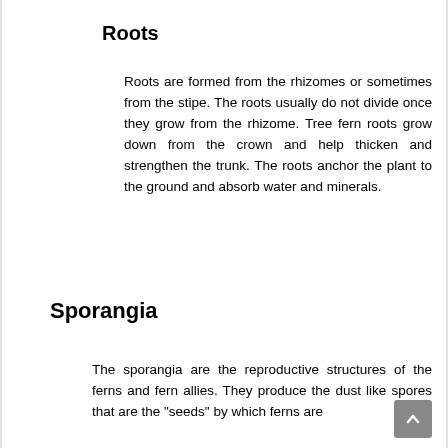Roots
Roots are formed from the rhizomes or sometimes from the stipe. The roots usually do not divide once they grow from the rhizome. Tree fern roots grow down from the crown and help thicken and strengthen the trunk. The roots anchor the plant to the ground and absorb water and minerals.
Sporangia
The sporangia are the reproductive structures of the ferns and fern allies. They produce the dust like spores that are the "seeds" by which ferns are